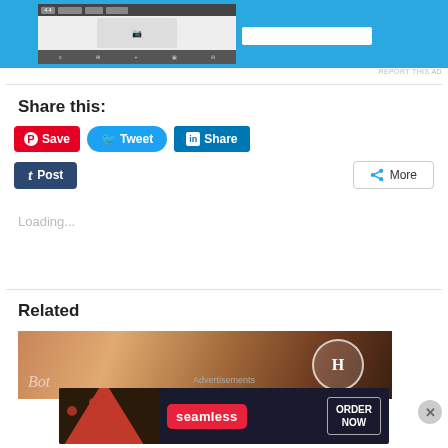[Figure (screenshot): Top advertisement banner with blue background showing a device screen mockup and input field, with 'REPORT THIS AD' link below it]
Share this:
[Figure (screenshot): Social sharing buttons: Pinterest Save (red), Twitter Tweet (blue), LinkedIn Share (dark blue), Tumblr Post (dark navy), and More button]
Loading...
Related
[Figure (photo): Partial photo showing hands on a wooden table with a circular badge/logo, related content thumbnail]
[Figure (screenshot): Bottom advertisement banner: Seamless food delivery ad with pizza image, 'seamless' logo and 'ORDER NOW' button on dark background. 'Advertisements' label above, close button to the right.]